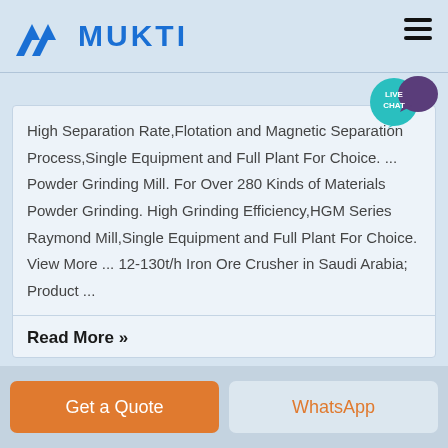MUKTI
High Separation Rate,Flotation and Magnetic Separation Process,Single Equipment and Full Plant For Choice. ... Powder Grinding Mill. For Over 280 Kinds of Materials Powder Grinding. High Grinding Efficiency,HGM Series Raymond Mill,Single Equipment and Full Plant For Choice. View More ... 12-130t/h Iron Ore Crusher in Saudi Arabia; Product ...
Read More »
Get a Quote
WhatsApp